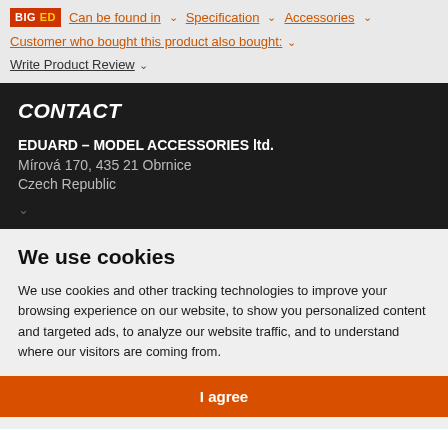BIG ED | Can be found in ∨ | Specification ∨ | Accessories ∨ | Customer who bought this product also bought: ∨ | Write Product Review ∨
CONTACT
EDUARD – MODEL ACCESSORIES ltd.
Mírová 170, 435 21 Obrnice
Czech Republic
We use cookies
We use cookies and other tracking technologies to improve your browsing experience on our website, to show you personalized content and targeted ads, to analyze our website traffic, and to understand where our visitors are coming from.
I agree